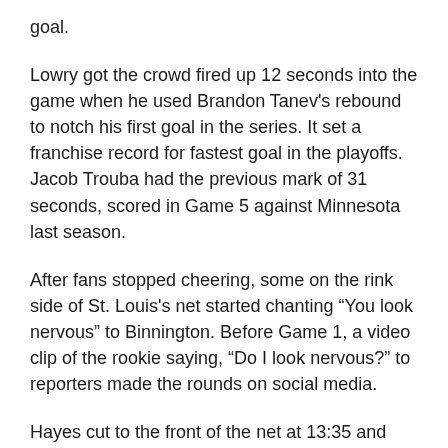goal.
Lowry got the crowd fired up 12 seconds into the game when he used Brandon Tanev's rebound to notch his first goal in the series. It set a franchise record for fastest goal in the playoffs. Jacob Trouba had the previous mark of 31 seconds, scored in Game 5 against Minnesota last season.
After fans stopped cheering, some on the rink side of St. Louis's net started chanting “You look nervous” to Binnington. Before Game 1, a video clip of the rookie saying, “Do I look nervous?” to reporters made the rounds on social media.
Hayes cut to the front of the net at 13:35 and sent the puck under Binnington’s pad to make it 2-0 with his second goal of the playoffs.